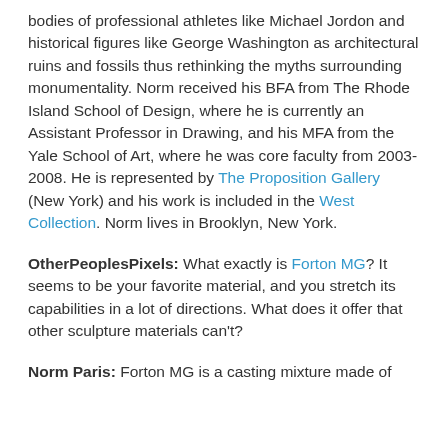bodies of professional athletes like Michael Jordon and historical figures like George Washington as architectural ruins and fossils thus rethinking the myths surrounding monumentality. Norm received his BFA from The Rhode Island School of Design, where he is currently an Assistant Professor in Drawing, and his MFA from the Yale School of Art, where he was core faculty from 2003-2008. He is represented by The Proposition Gallery (New York) and his work is included in the West Collection. Norm lives in Brooklyn, New York.
OtherPeoplesPixels: What exactly is Forton MG? It seems to be your favorite material, and you stretch its capabilities in a lot of directions. What does it offer that other sculpture materials can't?
Norm Paris: Forton MG is a casting mixture made of